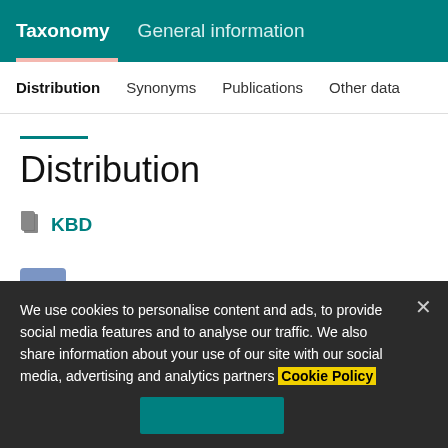Taxonomy  General information
Distribution  Synonyms  Publications  Other data
Distribution
KBD
We use cookies to personalise content and ads, to provide social media features and to analyse our traffic. We also share information about your use of our site with our social media, advertising and analytics partners Cookie Policy